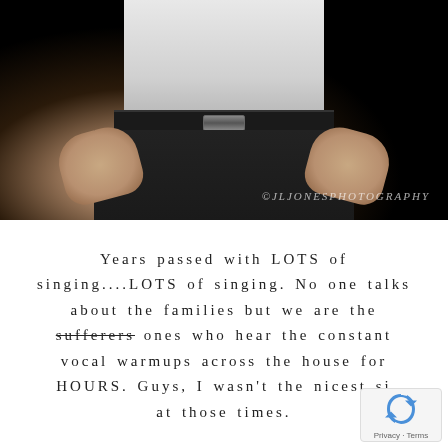[Figure (photo): Photo of a man's torso in a white shirt and black dress pants with a black leather belt, hands in pockets, against a dark background. Watermark reads ©JLJonesPhotography.]
Years passed with LOTS of singing....LOTS of singing. No one talks about the families but we are the sufferers ones who hear the constant vocal warmups across the house for HOURS. Guys, I wasn't the nicest si... at those times.